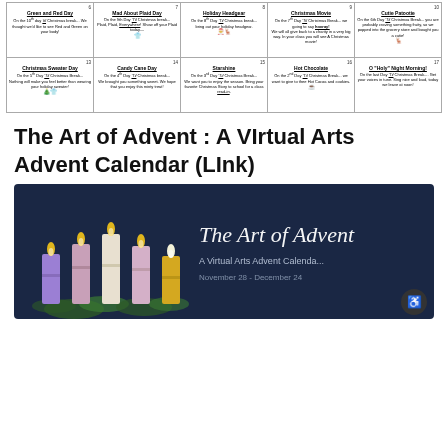| Day 6 | Day 7 | Day 8 | Day 9 | Day 10 |
| --- | --- | --- | --- | --- |
| Green and Red Day
On the 10th day 'til Christmas break... We thought we'd like to see Red and Green on your body! | Mad About Plaid Day
On the 9th Day 'Til Christmas break...
Plaid, Plaid, Everywhere! Show off your Plaid today— | Holiday Headgear
On the 8th Day 'Til Christmas break...
bring out your holiday headgear. | Christmas Movie
On the 7th Day 'Til Christmas Break... we going to say hooray!
We will all give back to a charity in a very big way. In your class you will see A Christmas movie! | Cutie Patootie
On the 6th Day 'Til Christmas Break... you are probably craving something fruity, so we popped into the grocery store and bought you a cutie! |
| Christmas Sweater Day
On the 5th Day 'Til Christmas Break...
Nothing will make you feel better than wearing your holiday sweater! | Candy Cane Day
On the 4th Day 'Til Christmas break...
We brought you something sweet. We hope that you enjoy this minty treat! | Starshine
On the 3rd Day 'Til Christmas Break...
We want you to enjoy the season. Bring your favorite Christmas Story to school for a class read-in. | Hot Chocolate
On the 2nd Day 'Til Christmas Break... we want to give to thee Hot Cocoa and cookies. | O 'Holy' Night Morning!
On the last Day 'Til Christmas Break.... Get your voices in tune. Sing nice and loud, today we leave at noon! |
The Art of Advent : A VIrtual Arts Advent Calendar (LInk)
[Figure (illustration): The Art of Advent - A Virtual Arts Advent Calendar banner image with candles on dark navy background. Shows 5 candles (purple, pink, white, purple, gold) with flames, green foliage, and text 'The Art of Advent. A Virtual Arts Advent Calendar. November 28 - December 24']